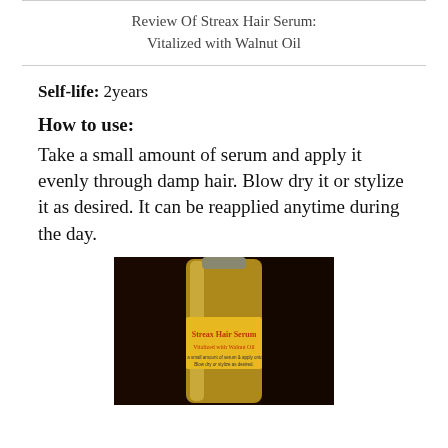Review Of Streax Hair Serum: Vitalized with Walnut Oil
Self-life: 2years
How to use:
Take a small amount of serum and apply it evenly through damp hair. Blow dry it or stylize it as desired. It can be reapplied anytime during the day.
[Figure (photo): Photo of a Streax Hair Serum bottle with a yellow label reading 'Streax Hair Serum Vitalized with Walnut Oil', placed against a dark background.]